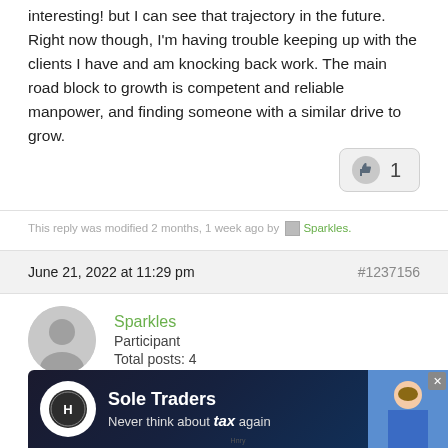interesting! but I can see that trajectory in the future. Right now though, I'm having trouble keeping up with the clients I have and am knocking back work. The main road block to growth is competent and reliable manpower, and finding someone with a similar drive to grow.
[Figure (other): Like button with thumbs up icon and count of 1]
This reply was modified 2 months, 1 week ago by Sparkles.
June 21, 2022 at 11:29 pm   #1237156
Sparkles
Participant
Total posts: 4
Hammertime44,
Most of ... precisely ... d by other ... w do
[Figure (infographic): Sole Traders advertisement banner - Hnry logo, text: Sole Traders Never think about tax again, with photo of woman]